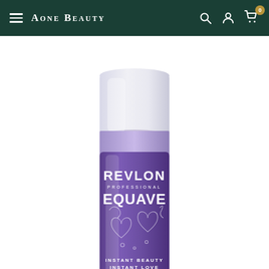Aone Beauty
[Figure (photo): Revlon Professional Equave Instant Beauty hair product bottle — a purple/lavender spray bottle with a white translucent cap, showing the brand name REVLON PROFESSIONAL EQUAVE with decorative heart motifs and text INSTANT BEAUTY INSTANT LOVE on the lower portion of the bottle.]